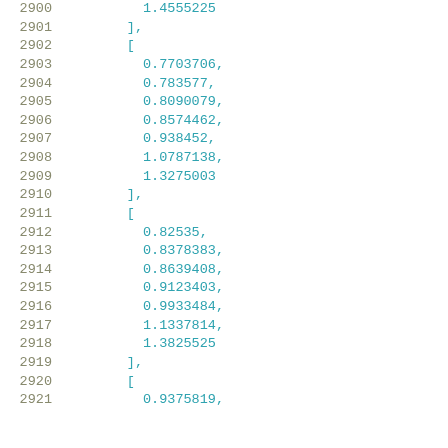2900 ... (truncated top)
2901   ],
2902   [
2903     0.7703706,
2904     0.783577,
2905     0.8090079,
2906     0.8574462,
2907     0.938452,
2908     1.0787138,
2909     1.3275003
2910   ],
2911   [
2912     0.82535,
2913     0.8378383,
2914     0.8639408,
2915     0.9123403,
2916     0.9933484,
2917     1.1337814,
2918     1.3825525
2919   ],
2920   [
2921     0.9375819,